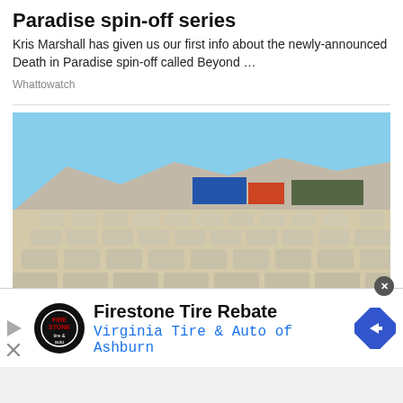Paradise spin-off series
Kris Marshall has given us our first info about the newly-announced Death in Paradise spin-off called Beyond …
Whattowatch
[Figure (photo): Aerial view of a large parking lot filled with rows of white/beige dusty cars, arid landscape with mountains and industrial buildings in background under a blue sky.]
Firestone Tire Rebate
Virginia Tire & Auto of Ashburn